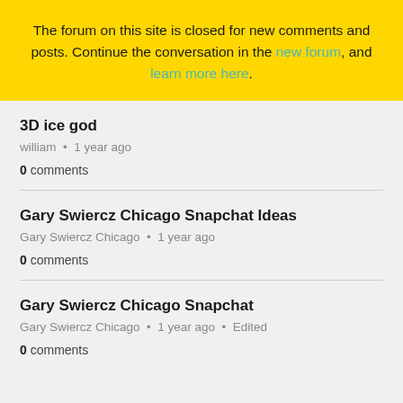The forum on this site is closed for new comments and posts. Continue the conversation in the new forum, and learn more here.
3D ice god
william • 1 year ago
0 comments
Gary Swiercz Chicago Snapchat Ideas
Gary Swiercz Chicago • 1 year ago
0 comments
Gary Swiercz Chicago Snapchat
Gary Swiercz Chicago • 1 year ago • Edited
0 comments